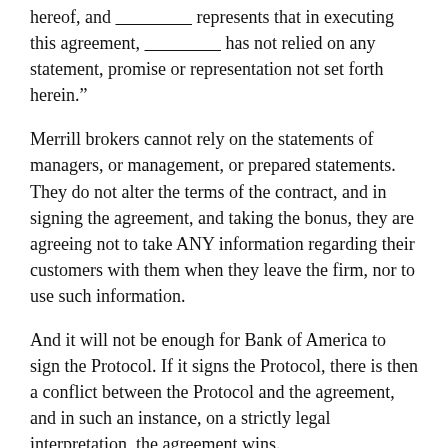hereof, and _________________ represents that in executing this agreement, _________________ has not relied on any statement, promise or representation not set forth herein."
Merrill brokers cannot rely on the statements of managers, or management, or prepared statements. They do not alter the terms of the contract, and in signing the agreement, and taking the bonus, they are agreeing not to take ANY information regarding their customers with them when they leave the firm, nor to use such information.
And it will not be enough for Bank of America to sign the Protocol. If it signs the Protocol, there is then a conflict between the Protocol and the agreement, and in such an instance, on a strictly legal interpretation, the agreement wins.
Now, without going all legal here, there are plenty of successful defenses that would apply to this situation, and